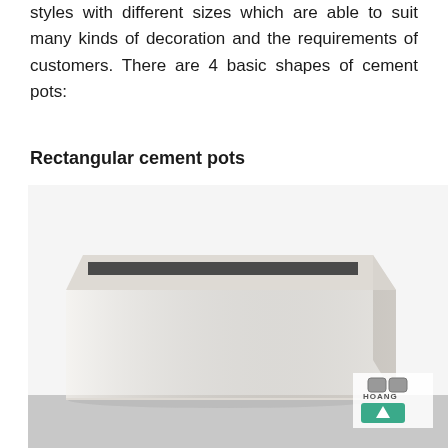styles with different sizes which are able to suit many kinds of decoration and the requirements of customers. There are 4 basic shapes of cement pots:
Rectangular cement pots
[Figure (photo): A white/light grey rectangular cement planter box photographed on a light grey floor. The pot is wide and low-profile with a flat rim and an open top showing a dark interior. A watermark logo reading 'HOANG' with a teal arrow button appears in the bottom-right corner of the image.]